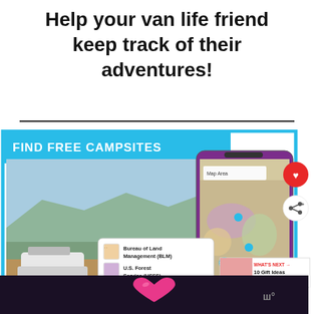Help your van life friend keep track of their adventures!
[Figure (screenshot): App screenshot showing a campsite finder app with a map displaying Bureau of Land Management (BLM), U.S. Forest Service (USFS), and National Park Service (NPS) areas, overlaid on a photo of an off-road vehicle on a dirt trail with mountains in the background. A 'FIND FREE CAMPSITES' cyan banner is shown at the top. Red heart and share buttons are visible on the right. A 'What's Next' panel shows '10 Gift Ideas For Someon...' A bottom bar shows a pink heart on dark purple background.]